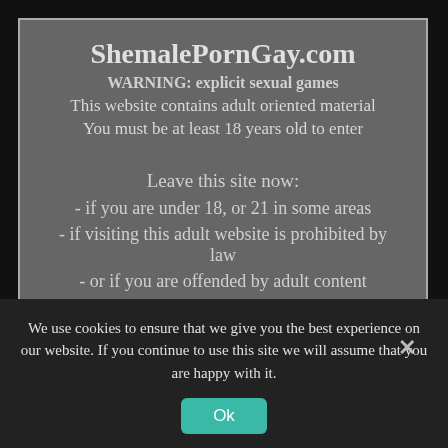ShemalePornGay.com
WARNING: explicit sexual games
This website contains adult oriented material
You must be at least 18 years old to enter
Leave this site now:
- if you are under 18, or 21 in some areas
- if visiting this adult website is prohibited by law
- or if you are offended by adult content
We use COOKIES on our websites. Enter only if you AGREE to use cookies.
Enter and play Gay games
Leave
We use cookies to ensure that we give you the best experience on our website. If you continue to use this site we will assume that you are happy with it.
Ok